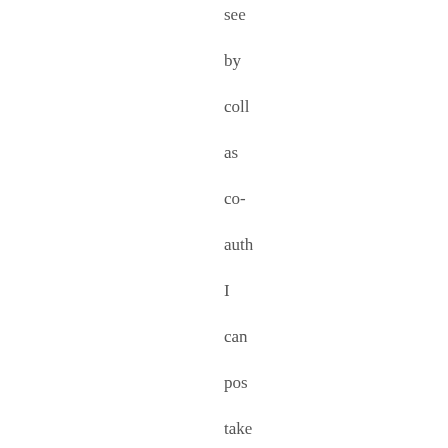see by coll as co- auth I can pos take on eve face of this bro topi in just a few pos of cou